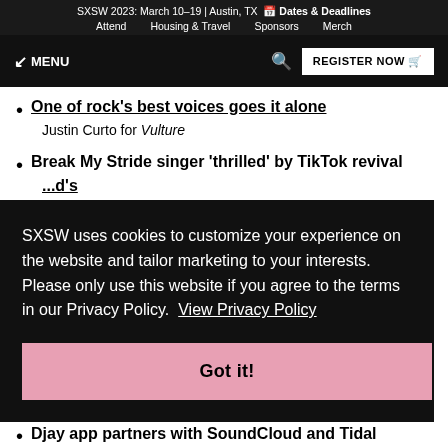SXSW 2023: March 10–19 | Austin, TX 📅 Dates & Deadlines  Attend  Housing & Travel  Sponsors  Merch
☰ MENU  🔍  REGISTER NOW 🛒
One of rock's best voices goes it alone
Justin Curto for Vulture
Break My Stride singer 'thrilled' by TikTok revival
SXSW uses cookies to customize your experience on the website and tailor marketing to your interests. Please only use this website if you agree to the terms in our Privacy Policy. View Privacy Policy
Got it!
Djay app partners with SoundCloud and Tidal